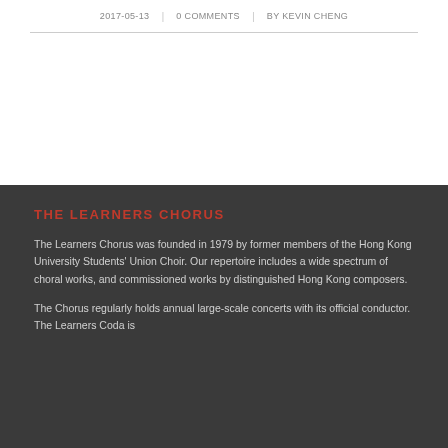2017-05-13 | 0 COMMENTS | BY KEVIN CHENG
THE LEARNERS CHORUS
The Learners Chorus was founded in 1979 by former members of the Hong Kong University Students' Union Choir. Our repertoire includes a wide spectrum of choral works, and commissioned works by distinguished Hong Kong composers.
The Chorus regularly holds annual large-scale concerts with its official conductor. The Learners Coda is